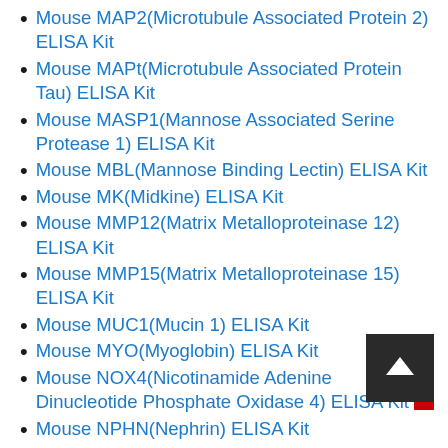Mouse MAP2(Microtubule Associated Protein 2) ELISA Kit
Mouse MAPt(Microtubule Associated Protein Tau) ELISA Kit
Mouse MASP1(Mannose Associated Serine Protease 1) ELISA Kit
Mouse MBL(Mannose Binding Lectin) ELISA Kit
Mouse MK(Midkine) ELISA Kit
Mouse MMP12(Matrix Metalloproteinase 12) ELISA Kit
Mouse MMP15(Matrix Metalloproteinase 15) ELISA Kit
Mouse MUC1(Mucin 1) ELISA Kit
Mouse MYO(Myoglobin) ELISA Kit
Mouse NOX4(Nicotinamide Adenine Dinucleotide Phosphate Oxidase 4) ELISA Kit
Mouse NPHN(Nephrin) ELISA Kit